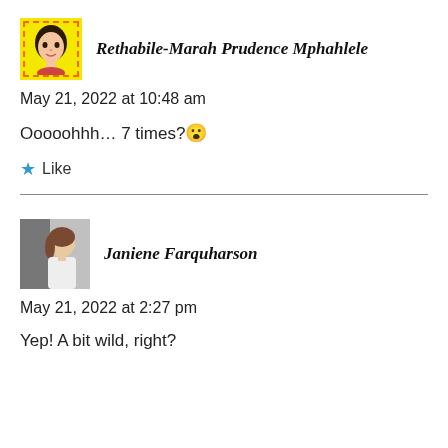[Figure (photo): Snapchat avatar with yellow background and dashed orange border showing a cartoon female face]
Rethabile-Marah Prudence Mphahlele
May 21, 2022 at 10:48 am
Ooooohhh... 7 times?😮
★ Like
[Figure (photo): Small photo of a woman with light skin and dark hair wearing a white top, partial face visible]
Janiene Farquharson
May 21, 2022 at 2:27 pm
Yep! A bit wild, right?